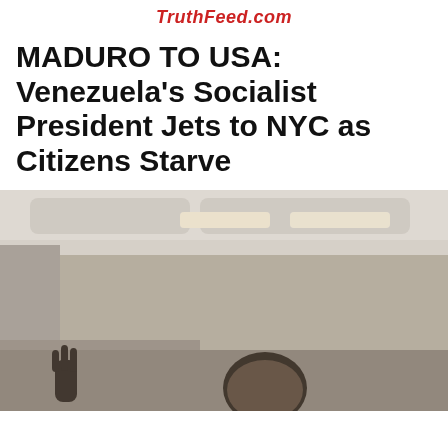TruthFeed.com
MADURO TO USA: Venezuela's Socialist President Jets to NYC as Citizens Starve
[Figure (photo): A man (Maduro) photographed inside an airplane cabin, raising his hand in a gesture, with aircraft interior ceiling and lighting visible in the background. The image appears to be a video still or screenshot taken on board a flight.]